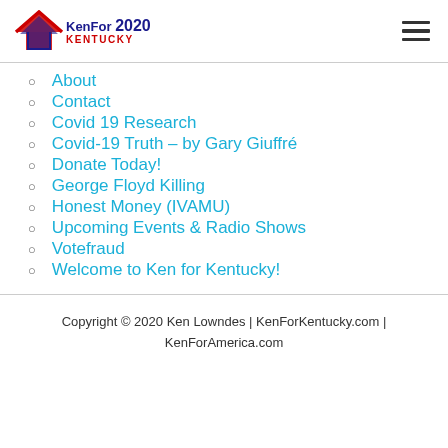Ken For Kentucky 2020 — navigation header with hamburger menu
About
Contact
Covid 19 Research
Covid-19 Truth – by Gary Giuffré
Donate Today!
George Floyd Killing
Honest Money (IVAMU)
Upcoming Events & Radio Shows
Votefraud
Welcome to Ken for Kentucky!
Copyright © 2020 Ken Lowndes | KenForKentucky.com | KenForAmerica.com